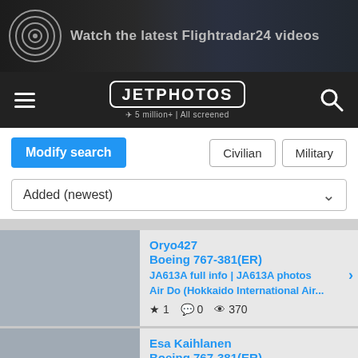[Figure (screenshot): Flightradar24 advertisement banner with airplane image and text 'Watch the latest Flightradar24 videos']
[Figure (logo): JetPhotos navigation bar with hamburger menu, JETPHOTOS logo (5 million+ | All screened), and search icon]
Modify search | Civilian | Military
Added (newest)
Oryo427
Boeing 767-381(ER)
JA613A full info | JA613A photos
Air Do (Hokkaido International Air...
★ 1  💬 0  👁 370
Esa Kaihlanen
Boeing 767-381(ER)
JA607A full info | JA607A photos